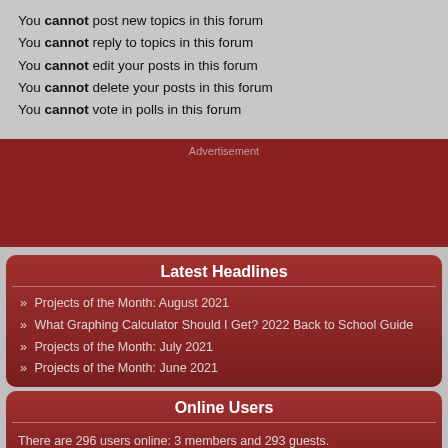You cannot post new topics in this forum
You cannot reply to topics in this forum
You cannot edit your posts in this forum
You cannot delete your posts in this forum
You cannot vote in polls in this forum
[Figure (other): Advertisement block - dark red background with 'Advertisement' label]
Latest Headlines
» Projects of the Month: August 2021
» What Graphing Calculator Should I Get? 2022 Back to School Guide
» Projects of the Month: July 2021
» Projects of the Month: June 2021
Online Users
There are 296 users online: 3 members and 293 guests. Members: mr womp womp, Oxiti8, toni20150.